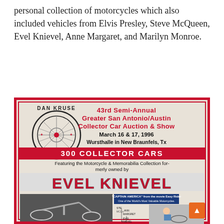personal collection of motorcycles which also included vehicles from Elvis Presley, Steve McQueen, Evel Knievel, Anne Margaret, and Marilyn Monroe.
[Figure (photo): Dan Kruse Classic Car Productions poster for the 43rd Semi-Annual Greater San Antonio/Austin Collector Car Auction & Show, March 16 & 17, 1996, Wursthalle in New Braunfels, TX. Features 300 Collector Cars including the Motorcycle & Memorabilia Collection formerly owned by Evel Knievel. Shows photos of motorcycles including the 'Captain America' bike from Easy Rider and mentions Steve McQueen, Ann Margret, Evel Knievel.]